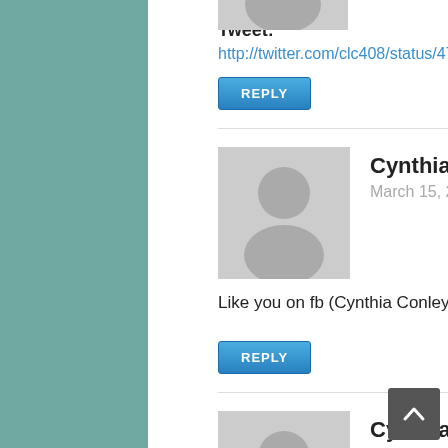[Figure (illustration): Grey avatar placeholder image at top]
Tweet:
http://twitter.com/clc408/status/476021626326626176
REPLY
[Figure (illustration): Grey avatar placeholder for Cynthia C]
Cynthia C says:
March 15, 2011 at 2:18 am
Like you on fb (Cynthia Conley)
REPLY
[Figure (illustration): Grey avatar placeholder for Cynthia C second comment]
Cynthia C says:
March 15, 2011 at 2:19 am
Following on gfc (clc408)
REPLY